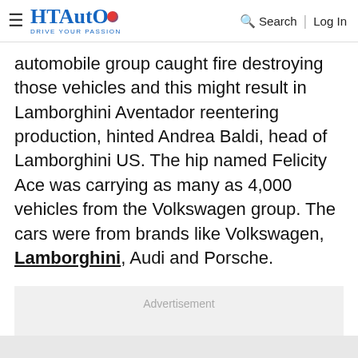HT Auto – Drive Your Passion | Search | Log In
automobile group caught fire destroying those vehicles and this might result in Lamborghini Aventador reentering production, hinted Andrea Baldi, head of Lamborghini US. The hip named Felicity Ace was carrying as many as 4,000 vehicles from the Volkswagen group. The cars were from brands like Volkswagen, Lamborghini, Audi and Porsche.
[Figure (other): Advertisement placeholder box with grey background]